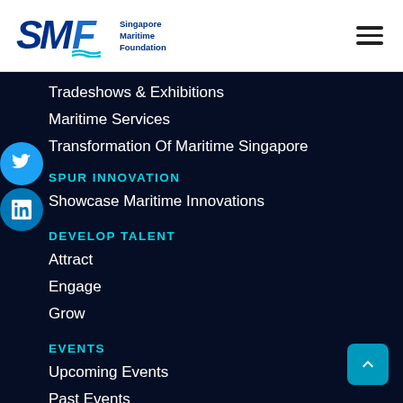SMF Singapore Maritime Foundation
Tradeshows & Exhibitions
Maritime Services
Transformation Of Maritime Singapore
SPUR INNOVATION
Showcase Maritime Innovations
DEVELOP TALENT
Attract
Engage
Grow
EVENTS
Upcoming Events
Past Events